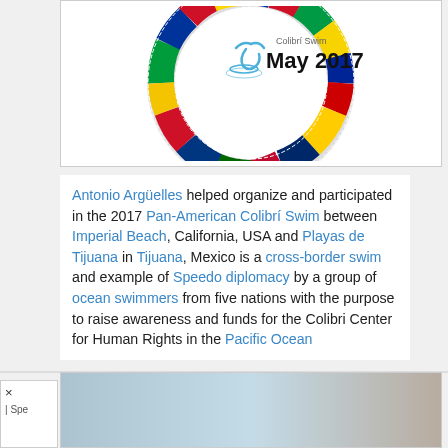[Figure (illustration): Colibri Swim logo showing a circular ring of international flags with a swimming figure and text 'Colibri Swim May 2017' in the center]
Antonio Argüelles helped organize and participated in the 2017 Pan-American Colibrí Swim between Imperial Beach, California, USA and Playas de Tijuana in Tijuana, Mexico is a cross-border swim and example of Speedo diplomacy by a group of ocean swimmers from five nations with the purpose to raise awareness and funds for the Colibri Center for Human Rights in the Pacific Ocean